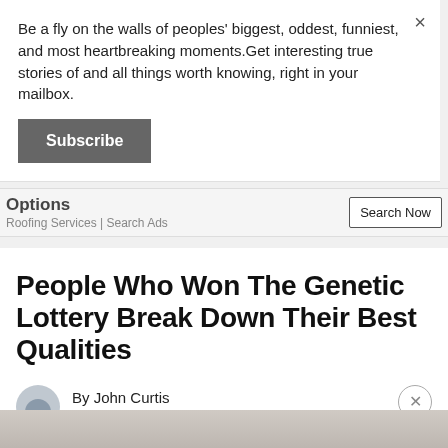Be a fly on the walls of peoples' biggest, oddest, funniest, and most heartbreaking moments.Get interesting true stories of and all things worth knowing, right in your mailbox.
Subscribe
Options
Roofing Services | Search Ads
Search Now
People Who Won The Genetic Lottery Break Down Their Best Qualities
By John Curtis
July 18 | 2022